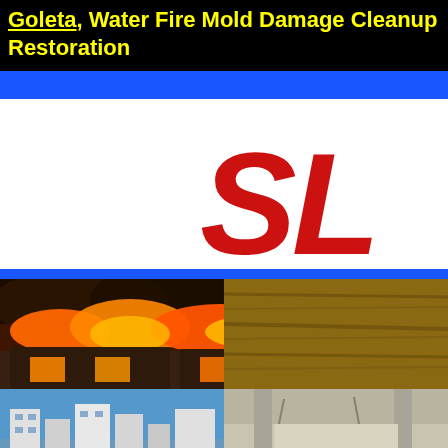Goleta, Water Fire Mold Damage Cleanup Restoration
[Figure (logo): Blue horizontal bar divider]
[Figure (logo): Company logo showing large red bold italic letters 'SL' on white background]
[Figure (photo): Building on fire with large orange flames and smoke above roof line]
[Figure (photo): Modern city waterfront buildings with blue sky]
[Figure (photo): Interior of damaged building with mold or water damage]